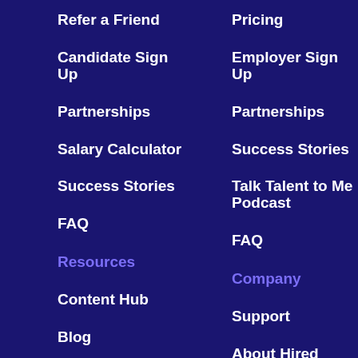Refer a Friend
Pricing
Candidate Sign Up
Employer Sign Up
Partnerships
Partnerships
Salary Calculator
Success Stories
Success Stories
Talk Talent to Me Podcast
FAQ
FAQ
Resources
Company
Content Hub
Support
Blog
About Hired
Events
Diversity
Company Directory
Careers
Skills Directory
Press